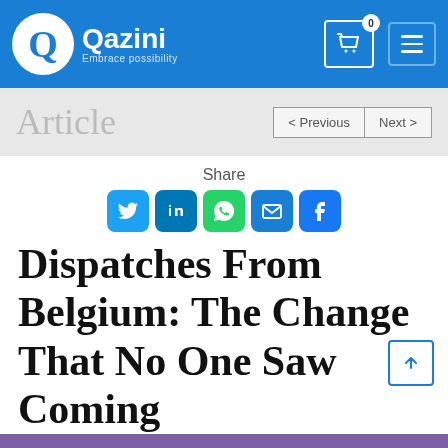[Figure (logo): Qazini logo with circular Q mark and tagline 'Embrace possibility' on blue navigation bar with cart and hamburger menu]
Article  < Previous  Next >
Share
[Figure (infographic): Social share icons: Twitter (blue bird), LinkedIn (in), WhatsApp (green phone), Email (envelope), Facebook (f)]
Dispatches From Belgium: The Change That No One Saw Coming
Reading Time 3 mins
April 22, 2020  Niels Tulleneers